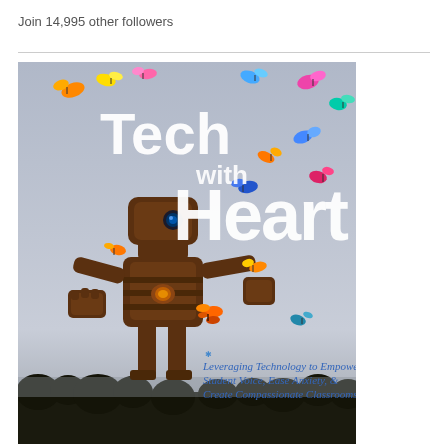Join 14,995 other followers
[Figure (illustration): Book cover for 'Tech with Heart: Leveraging Technology to Empower Student Voice, Ease Anxiety, & Create Compassionate Classrooms'. Features a wooden robot figure surrounded by colorful butterflies on a gray background. Title text 'Tech with Heart' in large white letters, subtitle in blue handwritten-style font.]